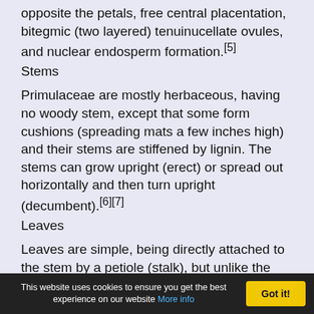opposite the petals, free central placentation, bitegmic (two layered) tenuinucellate ovules, and nuclear endosperm formation.[5]
Stems
Primulaceae are mostly herbaceous, having no woody stem, except that some form cushions (spreading mats a few inches high) and their stems are stiffened by lignin. The stems can grow upright (erect) or spread out horizontally and then turn upright (decumbent).[6][7]
Leaves
Leaves are simple, being directly attached to the stem by a petiole (stalk), but unlike the leaves of most flowering plants they have no stipules. The petiole is short or the leaf tapers gradually towards the base. Leaf arrangement is typically alternate but
This website uses cookies to ensure you get the best experience on our website More info